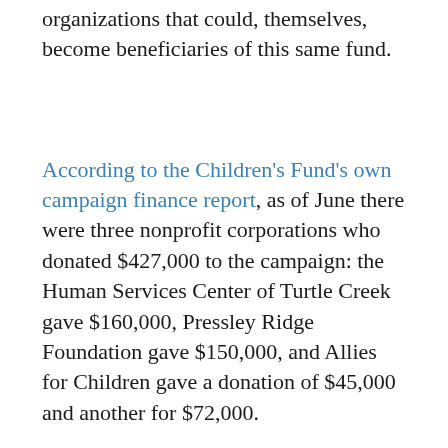organizations that could, themselves, become beneficiaries of this same fund.
According to the Children's Fund's own campaign finance report, as of June there were three nonprofit corporations who donated $427,000 to the campaign: the Human Services Center of Turtle Creek gave $160,000, Pressley Ridge Foundation gave $150,000, and Allies for Children gave a donation of $45,000 and another for $72,000.